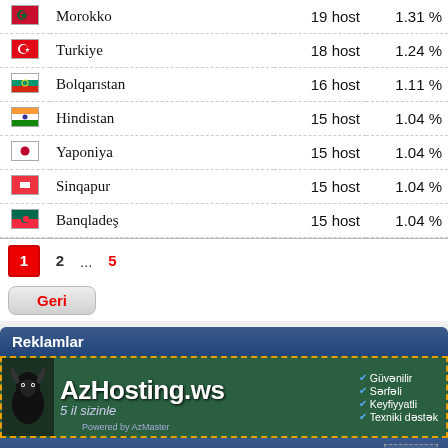| Flag | Country | Hosts | Percent |
| --- | --- | --- | --- |
| Morokko | 19 host | 1.31 % |
| Turkiye | 18 host | 1.24 % |
| Bolqarıstan | 16 host | 1.11 % |
| Hindistan | 15 host | 1.04 % |
| Yaponiya | 15 host | 1.04 % |
| Sinqapur | 15 host | 1.04 % |
| Banqladeş | 15 host | 1.04 % |
1 2 ... 5
Geri
Reklamlar
[Figure (illustration): AzHosting.ws advertisement banner with dark green background, bull icon on left, bold white text 'AzHosting.ws' and '5 il sizinle', checklist on right: Güvənilir, Sərfəli, Keyfiyyatli, Texniki dəstək]
© MobTop.az — stats: 98, 276